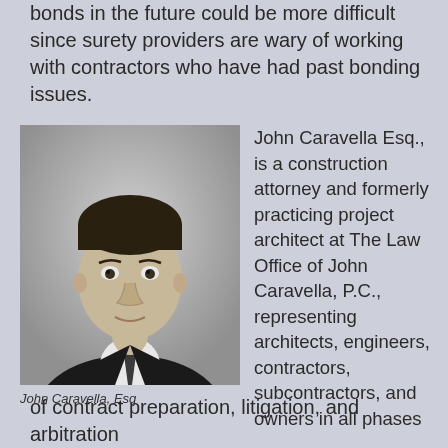bonds in the future could be more difficult since surety providers are wary of working with contractors who have had past bonding issues.
[Figure (photo): Black and white headshot of John Caravella, Esq., a man in a suit and tie, smiling slightly.]
John Caravella, Esq
John Caravella Esq., is a construction attorney and formerly practicing project architect at The Law Office of John Caravella, P.C., representing architects, engineers, contractors, subcontractors, and owners in all phases of contract preparation, litigation, and arbitration